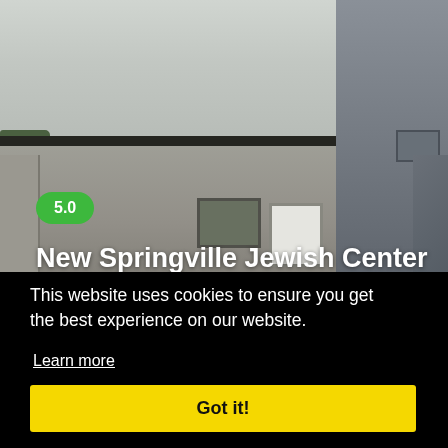[Figure (photo): Street-level photo of New Springville Jewish Center building — a low, flat-roofed tan/grey structure with dark trim, windows, and white door. Overcast sky, trees on left, adjacent building on right.]
5.0
New Springville Jewish Center
This website uses cookies to ensure you get the best experience on our website.
Learn more
Got it!
[Figure (photo): Partial view of a second building photo in the lower right corner — grey-blue tones, appears to be another street-level building photo.]